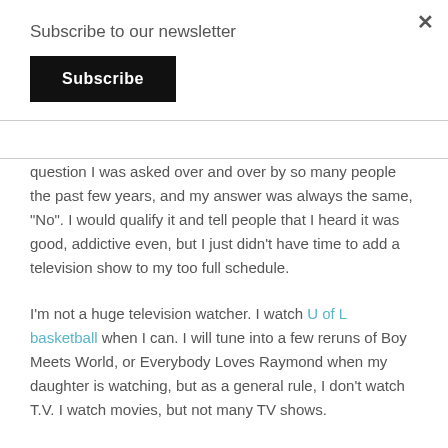Subscribe to our newsletter
Subscribe
question I was asked over and over by so many people the past few years, and my answer was always the same, “No”. I would qualify it and tell people that I heard it was good, addictive even, but I just didn’t have time to add a television show to my too full schedule.
I’m not a huge television watcher. I watch U of L basketball when I can. I will tune into a few reruns of Boy Meets World, or Everybody Loves Raymond when my daughter is watching, but as a general rule, I don’t watch T.V. I watch movies, but not many TV shows.
Times they are a changing.